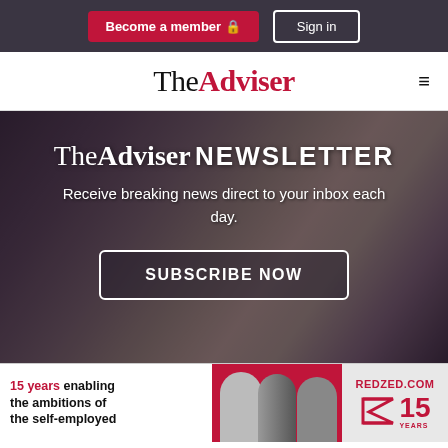Become a member 🔒  Sign in
TheAdviser
[Figure (photo): Hero banner with woman smiling and holding a phone, dark overlay. Text overlay: TheAdviser NEWSLETTER. Receive breaking news direct to your inbox each day. SUBSCRIBE NOW button.]
[Figure (infographic): RedZed advertisement banner: '15 years enabling the ambitions of the self-employed' with people silhouettes and REDZED.COM logo with 15 years mark.]